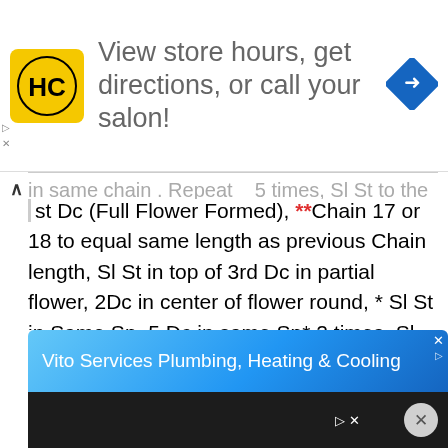[Figure (logo): HC (Hair Club) logo and advertisement banner: View store hours, get directions, or call your salon!]
in same chain. Repeat ... 5 times, Sl St to the base of 1st Dc (Full Flower Formed), **Chain 17 or 18 to equal same length as previous Chain length, Sl St in top of 3rd Dc in partial flower, 2Dc in center of flower round, * Sl St in Same Sp, 5 Dc in same Sp* 2 times, Sl St in base of 1st Dc of flower to complete flower**. Repeat( **  **) until you reach end of chain . ^Sl St in Last ch,  5 Dc in same sp, Sl St in same Sp^, repeat ^^ 5 times. Join with Sl St to base of 1st Dc. Finish off, weave in ends.
[Figure (screenshot): Vito Services Plumbing, Heating & Cooling advertisement banner (blue background)]